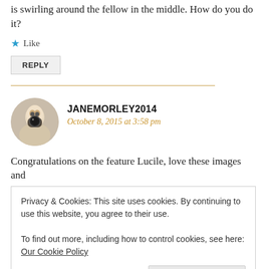is swirling around the fellow in the middle. How do you do it?
Like
REPLY
JANEMORLEY2014
October 8, 2015 at 3:58 pm
Congratulations on the feature Lucile, love these images and
Privacy & Cookies: This site uses cookies. By continuing to use this website, you agree to their use.
To find out more, including how to control cookies, see here: Our Cookie Policy
Close and accept
REPLY